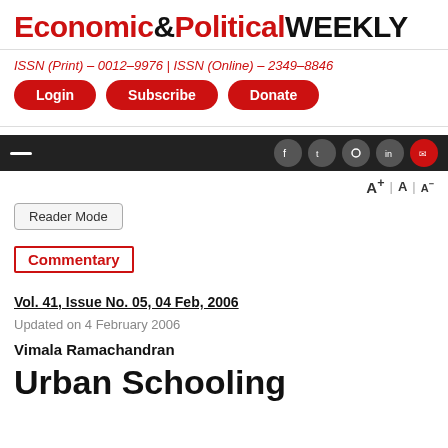Economic&PoliticalWEEKLY
ISSN (Print) - 0012-9976 | ISSN (Online) - 2349-8846
Login | Subscribe | Donate
Commentary
Vol. 41, Issue No. 05, 04 Feb, 2006
Updated on 4 February 2006
Vimala Ramachandran
Urban Schooling